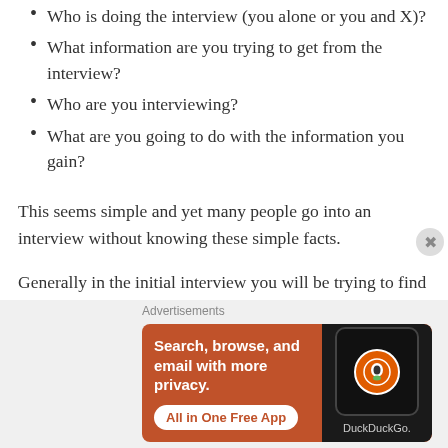Who is doing the interview (you alone or you and X)?
What information are you trying to get from the interview?
Who are you interviewing?
What are you going to do with the information you gain?
This seems simple and yet many people go into an interview without knowing these simple facts.
Generally in the initial interview you will be trying to find out:
[Figure (screenshot): DuckDuckGo advertisement banner: orange background with text 'Search, browse, and email with more privacy. All in One Free App' and a phone showing the DuckDuckGo logo on a dark background.]